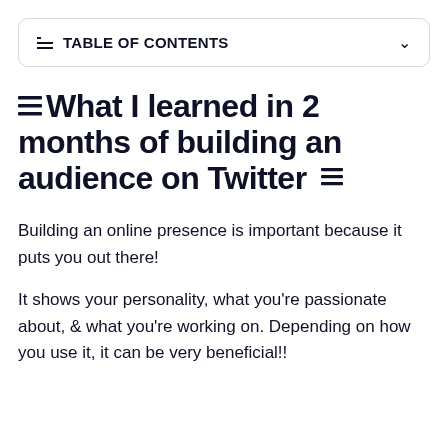TABLE OF CONTENTS
What I learned in 2 months of building an audience on Twitter
Building an online presence is important because it puts you out there!
It shows your personality, what you're passionate about, & what you're working on. Depending on how you use it, it can be very beneficial!!